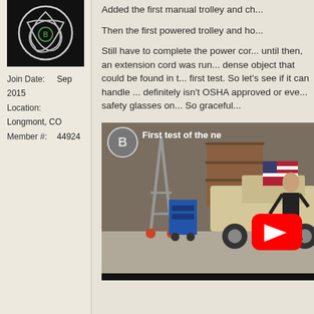[Figure (photo): Avatar image with Celtic knot / tribal design logo on black background]
Join Date: Sep 2015
Location: Longmont, CO
Member #: 44924
Added the first manual trolley and ch...
Then the first powered trolley and ho...
Still have to complete the power cor... until then, an extension cord was run... dense object that could be found in t... first test. So let's see if it can handle ... definitely isn't OSHA approved or eve... safety glasses on... So graceful...
[Figure (screenshot): YouTube video thumbnail showing workshop/garage with a metal structure on casters, a white pickup truck, American flag, and a person. Title text reads 'First test of the ne...' with a red YouTube play button overlay and circular channel icon.]